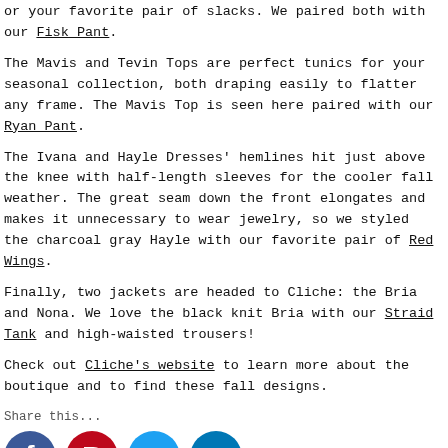or your favorite pair of slacks.  We paired both with our Fisk Pant.
The Mavis and Tevin Tops are perfect tunics for your seasonal collection, both draping easily to flatter any frame.  The Mavis Top is seen here paired with our Ryan Pant.
The Ivana and Hayle Dresses' hemlines hit just above the knee with half-length sleeves for the cooler fall weather.  The great seam down the front elongates and makes it unnecessary to wear jewelry, so we styled the charcoal gray Hayle with our favorite pair of Red Wings.
Finally, two jackets are headed to Cliche: the Bria and Nona.  We love the black knit Bria with our Straid Tank and high-waisted trousers!
Check out Cliche's website to learn more about the boutique and to find these fall designs.
Share this...
[Figure (infographic): Four social media icons in a row: Facebook (blue circle with white f), Pinterest (red circle with white P), Twitter (light blue circle with white bird), LinkedIn (blue circle with white in)]